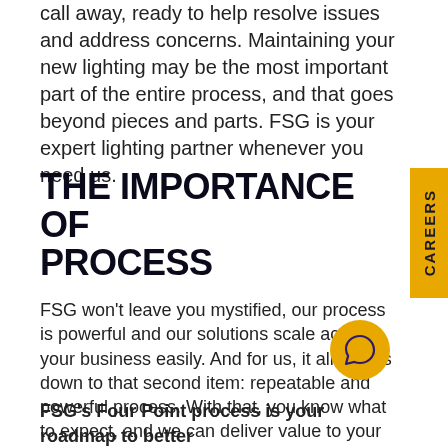call away, ready to help resolve issues and address concerns. Maintaining your new lighting may be the most important part of the entire process, and that goes beyond pieces and parts. FSG is your expert lighting partner whenever you need us.
THE IMPORTANCE OF PROCESS
FSG won't leave you mystified, our process is powerful and our solutions scale across your business easily. And for us, it all comes down to that second item: repeatable and powerful process. With that, you know what to expect, and we can deliver value to your bottom line.
FSG's Four Point process is your roadmap to better